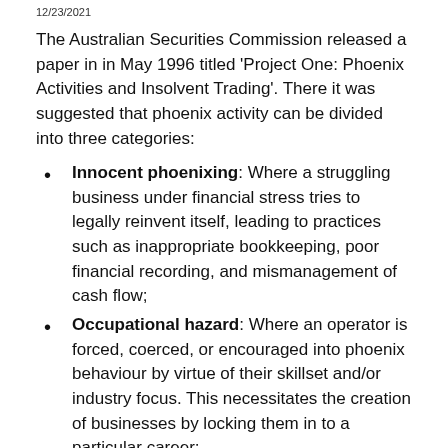12/23/2021
The Australian Securities Commission released a paper in in May 1996 titled 'Project One: Phoenix Activities and Insolvent Trading'. There it was suggested that phoenix activity can be divided into three categories:
Innocent phoenixing: Where a struggling business under financial stress tries to legally reinvent itself, leading to practices such as inappropriate bookkeeping, poor financial recording, and mismanagement of cash flow;
Occupational hazard: Where an operator is forced, coerced, or encouraged into phoenix behaviour by virtue of their skillset and/or industry focus. This necessitates the creation of businesses by locking them in to a particular career;